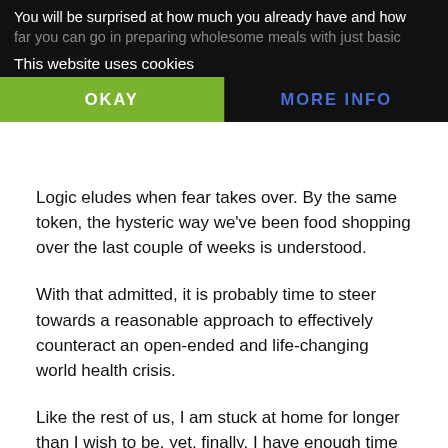You will be surprised at how much you already have and how far you can go in preparing wholesome meals with just basic
This website uses cookies
OKAY
MORE INFO
Logic eludes when fear takes over. By the same token, the hysteric way we've been food shopping over the last couple of weeks is understood.
With that admitted, it is probably time to steer towards a reasonable approach to effectively counteract an open-ended and life-changing world health crisis.
Like the rest of us, I am stuck at home for longer than I wish to be, yet, finally, I have enough time to put my pantry in order.
Avoiding food waste should be our next focus after we stuffed every inch of our closets with food.
Believe it or not, I created a spreadsheet with every single ingredient in my pantry and fridge and planned meals